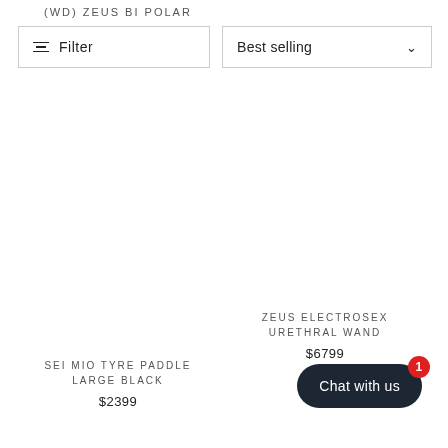(WD) ZEUS BI POLAR
Filter
Best selling
ZEUS ELECTROSEX URETHRAL WAND
$6799
SEI MIO TYRE PADDLE LARGE BLACK
$2399
Chat with us